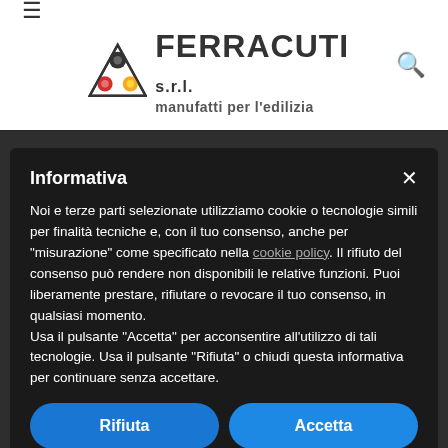[Figure (logo): Ferracuti s.r.l. manufatti per l'edilizia logo with triangular pipe icon]
Informativa
Noi e terze parti selezionate utilizziamo cookie o tecnologie simili per finalità tecniche e, con il tuo consenso, anche per "misurazione" come specificato nella cookie policy. Il rifiuto del consenso può rendere non disponibili le relative funzioni. Puoi liberamente prestare, rifiutare o revocare il tuo consenso, in qualsiasi momento.
Usa il pulsante "Accetta" per acconsentire all'utilizzo di tali tecnologie. Usa il pulsante "Rifiuta" o chiudi questa informativa per continuare senza accettare.
Rifiuta
Accetta
Scopri di più e personalizza